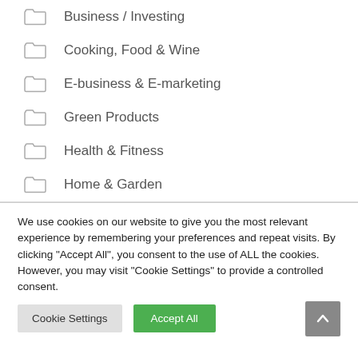Business / Investing
Cooking, Food & Wine
E-business & E-marketing
Green Products
Health & Fitness
Home & Garden
We use cookies on our website to give you the most relevant experience by remembering your preferences and repeat visits. By clicking "Accept All", you consent to the use of ALL the cookies. However, you may visit "Cookie Settings" to provide a controlled consent.